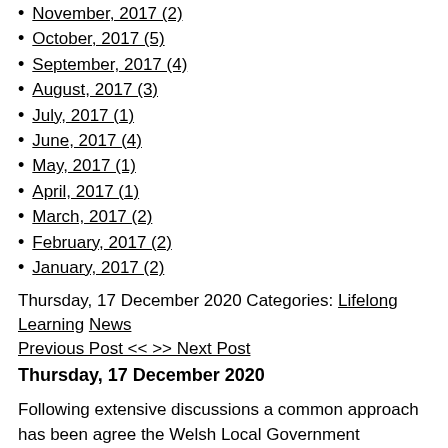November, 2017 (2)
October, 2017 (5)
September, 2017 (4)
August, 2017 (3)
July, 2017 (1)
June, 2017 (4)
May, 2017 (1)
April, 2017 (1)
March, 2017 (2)
February, 2017 (2)
January, 2017 (2)
Thursday, 17 December 2020 Categories: Lifelong Learning News Previous Post << >> Next Post
Thursday, 17 December 2020
Following extensive discussions a common approach has been agreed the Welsh Local Government Association for the return to school in J
With transmission levels continuing to increase across Wales, and un might have on school staffing levels over the Christmas break, there at the beginning of term. However, minimising disruption to our chi education remains a priority and face to face learning should be the clear public health and safety reasons for moving to remote learning.
For most of our learners, the new school term will start on 4th Januar schools who have planned INSET days in this first week. As schools